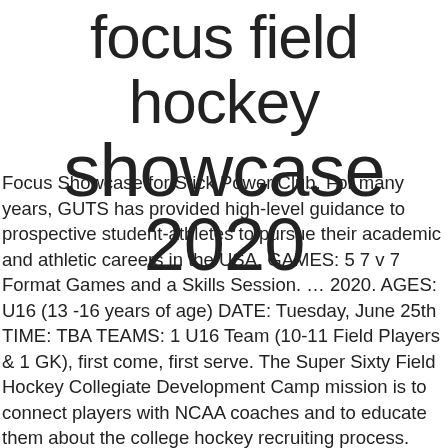focus field hockey showcase 2020
Focus Showcase for Stick Power Club. For many years, GUTS has provided high-level guidance to prospective student-athletes to pursue their academic and athletic careers in the USA. GAMES: 5 7 v 7 Format Games and a Skills Session. … 2020. AGES: U16 (13 -16 years of age) DATE: Tuesday, June 25th TIME: TBA TEAMS: 1 U16 Team (10-11 Field Players & 1 GK), first come, first serve. The Super Sixty Field Hockey Collegiate Development Camp mission is to connect players with NCAA coaches and to educate them about the college hockey recruiting process. Compete in the Focus Showcase! Interested in being seen by more than 50 college programs? Registration is closed. Warhill Sports Complex, 5700 Warhill Trail, Williamsburg, VA 23188 … For Stick Power Field Hockey Club